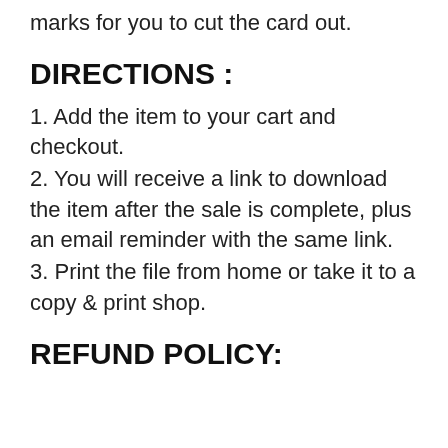marks for you to cut the card out.
DIRECTIONS :
1. Add the item to your cart and checkout.
2. You will receive a link to download the item after the sale is complete, plus an email reminder with the same link.
3. Print the file from home or take it to a copy & print shop.
REFUND POLICY: